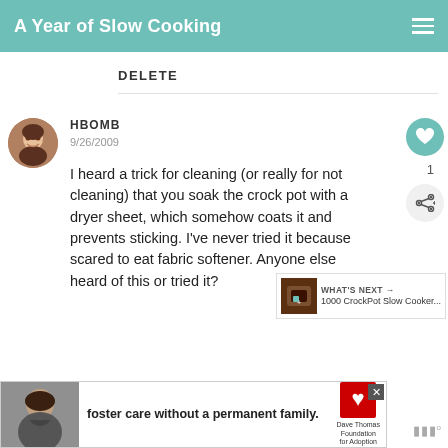A Year of Slow Cooking
DELETE
HBOMB
9/26/2009
I heard a trick for cleaning (or really for not cleaning) that you soak the crock pot with a dryer sheet, which somehow coats it and prevents sticking. I've never tried it because scared to eat fabric softener. Anyone else heard of this or tried it?
WHAT'S NEXT → 1000 CrockPot Slow Cooker...
[Figure (infographic): Advertisement banner for foster care with a woman's photo, text 'foster care without a permanent family.', Dave Thomas Foundation for Adoption logo, and close button]